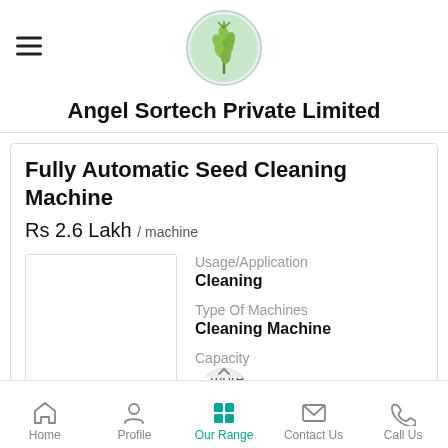[Figure (logo): Angel Sortech logo: circular green wheat/grain image]
Angel Sortech Private Limited
Fully Automatic Seed Cleaning Machine
Rs 2.6 Lakh / machine
[Figure (photo): Product image placeholder (white box)]
Usage/Application
Cleaning
Type Of Machines
Cleaning Machine
Capacity
...more
Home  Profile  Our Range  Contact Us  Call Us